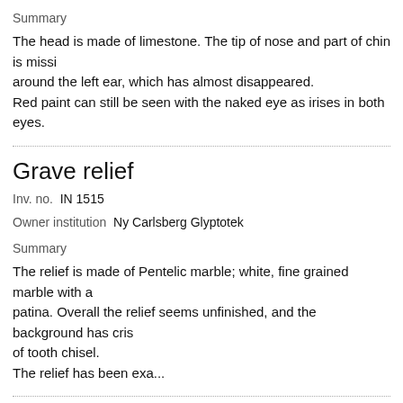Summary
The head is made of limestone. The tip of nose and part of chin is missing around the left ear, which has almost disappeared.
Red paint can still be seen with the naked eye as irises in both eyes.
Grave relief
Inv. no.  IN 1515
Owner institution  Ny Carlsberg Glyptotek
Summary
The relief is made of Pentelic marble; white, fine grained marble with a patina. Overall the relief seems unfinished, and the background has cris of tooth chisel.
The relief has been exa...
Head of a man
Inv. no.  IN 419
Owner institution  Ny Carlsberg Glyptotek
Summary